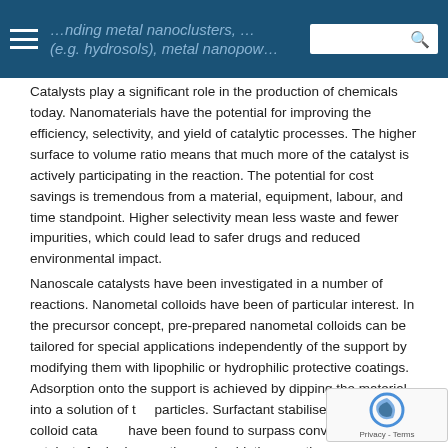…nding metal nanoclusters, … (e.g. hydrosols), metal nanopow…
Catalysts play a significant role in the production of chemicals today. Nanomaterials have the potential for improving the efficiency, selectivity, and yield of catalytic processes. The higher surface to volume ratio means that much more of the catalyst is actively participating in the reaction. The potential for cost savings is tremendous from a material, equipment, labour, and time standpoint. Higher selectivity mean less waste and fewer impurities, which could lead to safer drugs and reduced environmental impact.
Nanoscale catalysts have been investigated in a number of reactions. Nanometal colloids have been of particular interest. In the precursor concept, pre-prepared nanometal colloids can be tailored for special applications independently of the support by modifying them with lipophilic or hydrophilic protective coatings. Adsorption onto the support is achieved by dipping the material into a solution of the particles. Surfactant stabilised nanometal colloid catalysts have been found to surpass conventional catalysts for hydrogenation and oxidation reactions.